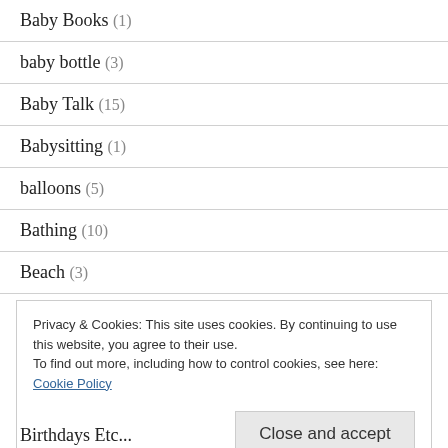Baby Books (1)
baby bottle (3)
Baby Talk (15)
Babysitting (1)
balloons (5)
Bathing (10)
Beach (3)
Privacy & Cookies: This site uses cookies. By continuing to use this website, you agree to their use. To find out more, including how to control cookies, see here: Cookie Policy
Birthdays Etc... (?)